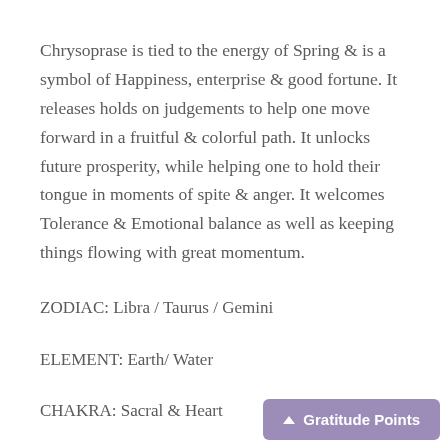Chrysoprase is tied to the energy of Spring & is a symbol of Happiness, enterprise & good fortune. It releases holds on judgements to help one move forward in a fruitful & colorful path. It unlocks future prosperity, while helping one to hold their tongue in moments of spite & anger. It welcomes Tolerance & Emotional balance as well as keeping things flowing with great momentum.
ZODIAC: Libra / Taurus / Gemini
ELEMENT: Earth/ Water
CHAKRA: Sacral & Heart
HOLISTIC: Physical Illness & Exhaus...